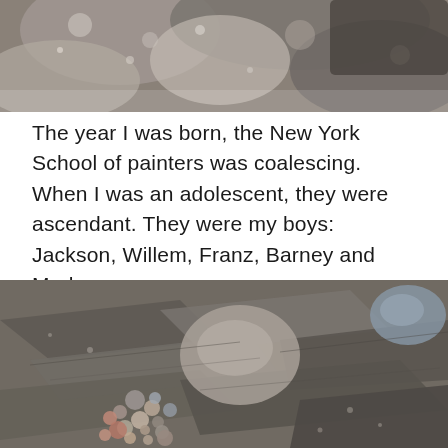[Figure (photo): Close-up photograph of large rocks and stone surfaces with rough, mottled textures in grey and brown tones — top portion of page, partial view]
The year I was born, the New York School of painters was coalescing. When I was an adolescent, they were ascendant. They were my boys: Jackson, Willem, Franz, Barney and Mark.
[Figure (photo): Close-up photograph of flat layered slate rocks with small pebbles and gravel collected in crevices, grey and brownish tones — bottom portion of page]